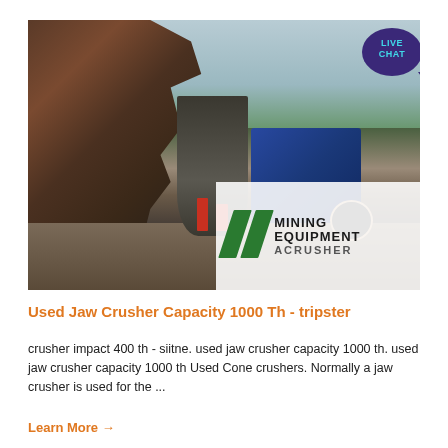[Figure (photo): Outdoor mining site showing heavy industrial cone crusher and conveyor equipment with mountains and river in background. Lower right overlay shows 'MINING EQUIPMENT ACRUSHER' branding with green slash marks. Upper right has a 'LIVE CHAT' bubble icon in dark purple.]
Used Jaw Crusher Capacity 1000 Th - tripster
crusher impact 400 th - siitne. used jaw crusher capacity 1000 th. used jaw crusher capacity 1000 th Used Cone crushers. Normally a jaw crusher is used for the ...
Learn More →